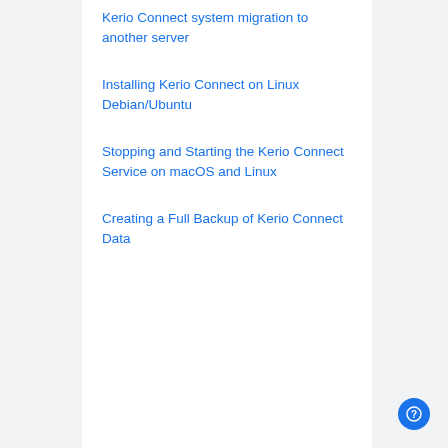Kerio Connect system migration to another server
Installing Kerio Connect on Linux Debian/Ubuntu
Stopping and Starting the Kerio Connect Service on macOS and Linux
Creating a Full Backup of Kerio Connect Data